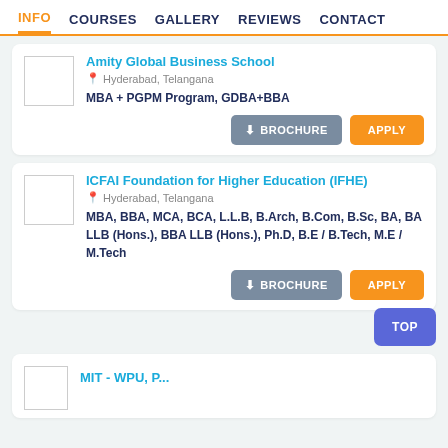INFO  COURSES  GALLERY  REVIEWS  CONTACT
Amity Global Business School
Hyderabad, Telangana
MBA + PGPM Program, GDBA+BBA
BROCHURE  APPLY
ICFAI Foundation for Higher Education (IFHE)
Hyderabad, Telangana
MBA, BBA, MCA, BCA, L.L.B, B.Arch, B.Com, B.Sc, BA, BA LLB (Hons.), BBA LLB (Hons.), Ph.D, B.E / B.Tech, M.E / M.Tech
BROCHURE  APPLY
MIT - WPU, P...